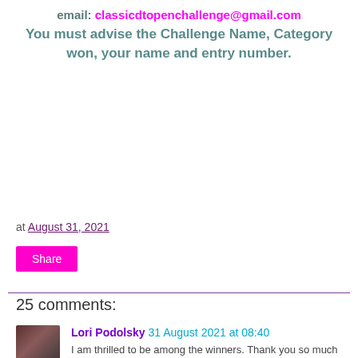email: classicdtopenchallenge@gmail.com
You must advise the Challenge Name, Category won, your name and entry number.
at August 31, 2021
Share
25 comments:
Lori Podolsky 31 August 2021 at 08:40
I am thrilled to be among the winners. Thank you so much